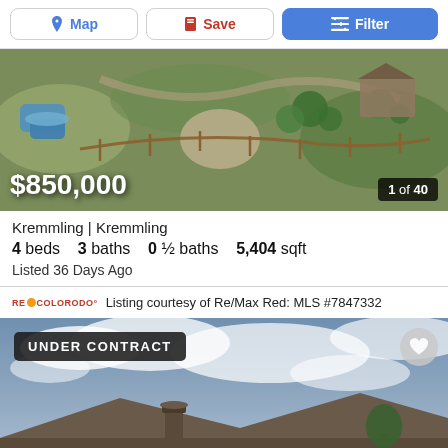Map | Save | Filter
[Figure (photo): Aerial drone view of a rural property with blue water tanks, rocky terrain, wooden fencing, and green shrubs/trees]
$850,000   1 of 40
Kremmling | Kremmling
4 beds  3 baths  0 ½ baths  5,404 sqft
Listed 36 Days Ago
Listing courtesy of Re/Max Red: MLS #7847332
[Figure (photo): Sky and clouds photo showing rooftop of a house with a chimney; badge reads UNDER CONTRACT]